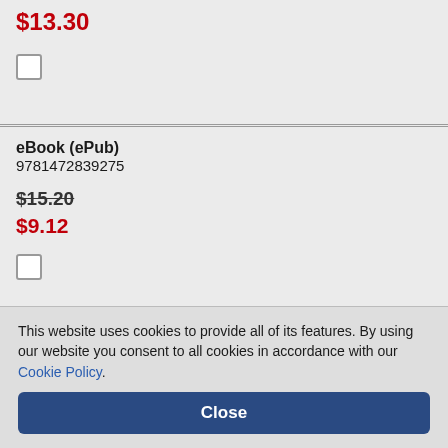$13.30
eBook (ePub)
9781472839275
$15.20
$9.12
eBook (PDF)
9781472839244
$15.20
$9.12
This website uses cookies to provide all of its features. By using our website you consent to all cookies in accordance with our Cookie Policy.
Close